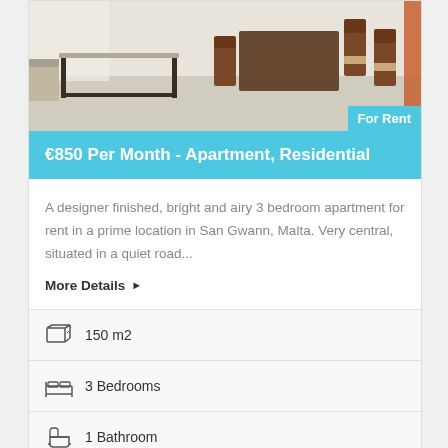[Figure (photo): Interior photo of a dining/living area with dark wood table and chairs on light tiled floor]
€850 Per Month - Apartment, Residential
A designer finished, bright and airy 3 bedroom apartment for rent in a prime location in San Gwann, Malta. Very central, situated in a quiet road...
More Details ▶
150 m2
3 Bedrooms
1 Bathroom